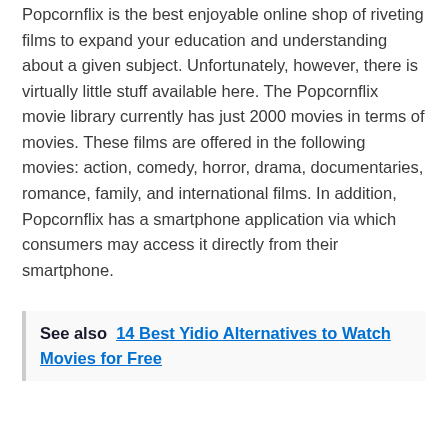Popcornflix is the best enjoyable online shop of riveting films to expand your education and understanding about a given subject. Unfortunately, however, there is virtually little stuff available here. The Popcornflix movie library currently has just 2000 movies in terms of movies. These films are offered in the following movies: action, comedy, horror, drama, documentaries, romance, family, and international films. In addition, Popcornflix has a smartphone application via which consumers may access it directly from their smartphone.
See also  14 Best Yidio Alternatives to Watch Movies for Free